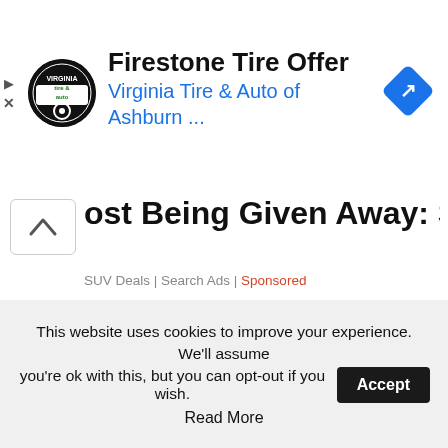[Figure (screenshot): Firestone Tire Offer ad banner with Virginia Tire & Auto logo (circular black badge with green 'tire & auto' text), ad title 'Firestone Tire Offer', subtitle 'Virginia Tire & Auto of Ashburn ...', blue diamond navigation icon, and ad control buttons (play and close)]
[Figure (screenshot): Second ad row with chevron-up button, truncated headline 'ost Being Given Away: See Prices', metadata line 'SUV Deals | Search Ads | Sponsored']
This website uses cookies to improve your experience. We'll assume you're ok with this, but you can opt-out if you wish. Accept Read More